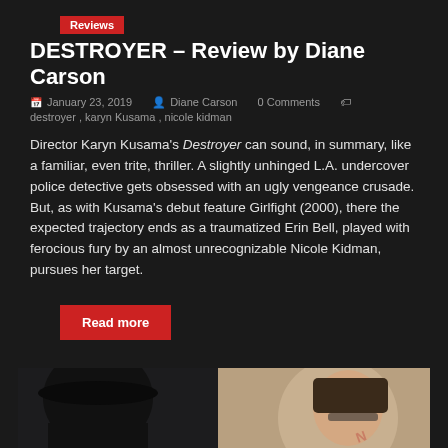Reviews
DESTROYER – Review by Diane Carson
January 23, 2019  Diane Carson  0 Comments
destroyer, karyn Kusama, nicole kidman
Director Karyn Kusama's Destroyer can sound, in summary, like a familiar, even trite, thriller. A slightly unhinged L.A. undercover police detective gets obsessed with an ugly vengeance crusade. But, as with Kusama's debut feature Girlfight (2000), there the expected trajectory ends as a traumatized Erin Bell, played with ferocious fury by an almost unrecognizable Nicole Kidman, pursues her target.
Read more
[Figure (photo): Bottom portion of a movie-related photo showing two people, partially cropped]